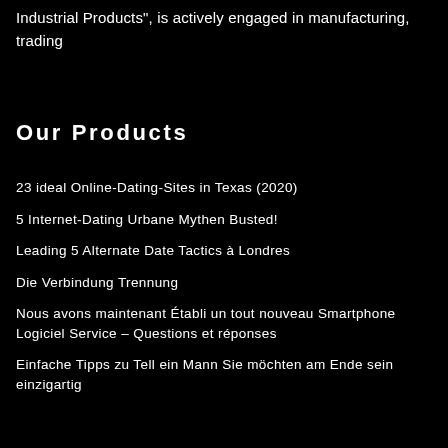Industrial Products", is actively engaged in manufacturing, trading
Our Products
23 ideal Online-Dating-Sites in Texas (2020)
5 Internet-Dating Urbane Mythen Busted!
Leading 5 Alternate Date Tactics à Londres
Die Verbindung Trennung
Nous avons maintenant Établi un tout nouveau Smartphone Logiciel Service – Questions et réponses
Einfache Tipps zu Tell ein Mann Sie möchten am Ende sein einzigartig